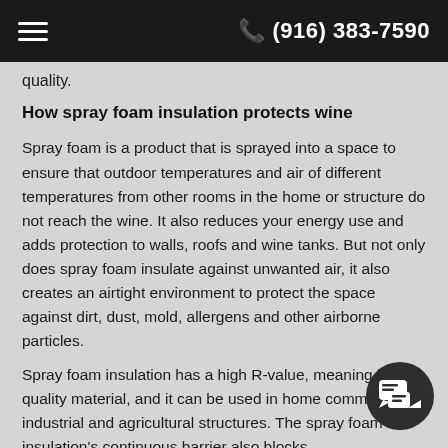☰  ✆ (916) 383-7590
quality.
How spray foam insulation protects wine
Spray foam is a product that is sprayed into a space to ensure that outdoor temperatures and air of different temperatures from other rooms in the home or structure do not reach the wine. It also reduces your energy use and adds protection to walls, roofs and wine tanks. But not only does spray foam insulate against unwanted air, it also creates an airtight environment to protect the space against dirt, dust, mold, allergens and other airborne particles.
Spray foam insulation has a high R-value, meaning high quality material, and it can be used in home commercial, industrial and agricultural structures. The spray foam insulation's continuous barrier also blocks